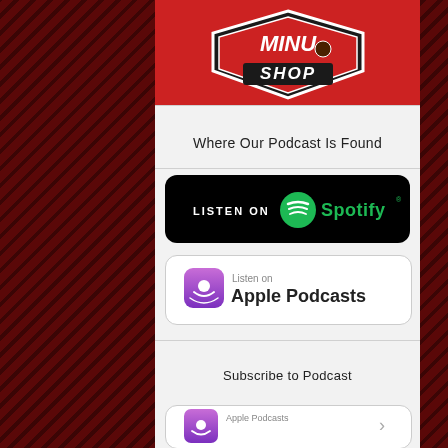[Figure (logo): Shop logo with red background, shield shape and 'SHOP' text in white]
Where Our Podcast Is Found
[Figure (logo): Listen on Spotify badge - black background with Spotify logo and green text]
[Figure (logo): Listen on Apple Podcasts badge - white background with purple podcast icon]
Subscribe to Podcast
[Figure (logo): Apple Podcasts badge partially visible at bottom]